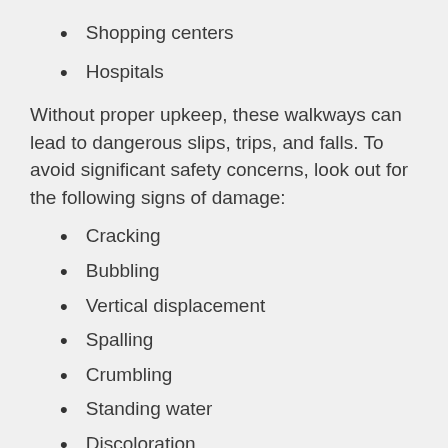Shopping centers
Hospitals
Without proper upkeep, these walkways can lead to dangerous slips, trips, and falls. To avoid significant safety concerns, look out for the following signs of damage:
Cracking
Bubbling
Vertical displacement
Spalling
Crumbling
Standing water
Discoloration
When you take the time to care for your concrete, you can prolong its lifespan up to 40 years. Keep your